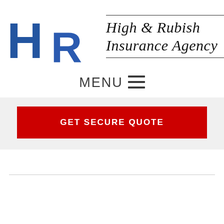[Figure (logo): HR Insurance Agency logo with large blue H and R letters followed by 'High & Rubish Insurance Agency' in italic serif font]
MENU ☰
GET SECURE QUOTE